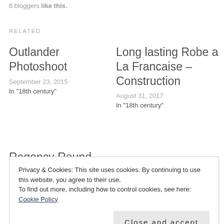6 bloggers like this.
RELATED
Outlander Photoshoot
September 23, 2015
In "18th century"
Long lasting Robe a La Francaise – Construction
August 31, 2017
In "18th century"
Regency Round Gown – Construction
June 17, 2016
Privacy & Cookies: This site uses cookies. By continuing to use this website, you agree to their use.
To find out more, including how to control cookies, see here: Cookie Policy
Close and accept